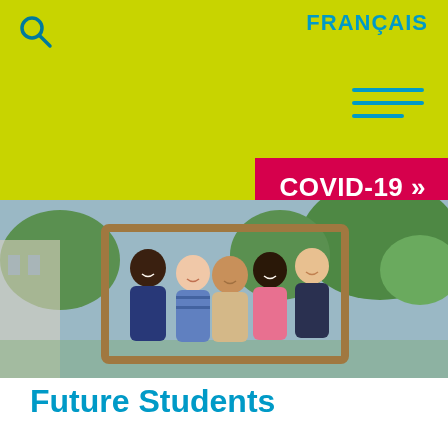[Figure (screenshot): University website screenshot showing yellow-green header with FRANÇAIS link, search icon, hamburger menu, COVID-19 banner in pink/red, and group photo of five diverse smiling students holding a picture frame outdoors]
Future Students